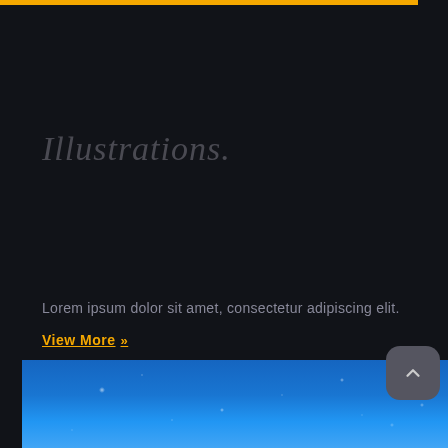[Figure (other): Golden/amber horizontal top accent bar]
Illustrations.
Lorem ipsum dolor sit amet, consectetur adipiscing elit.
View More »
[Figure (photo): Blue starry night sky panel at the bottom]
[Figure (other): Dark rounded scroll-to-top button with upward chevron arrow]